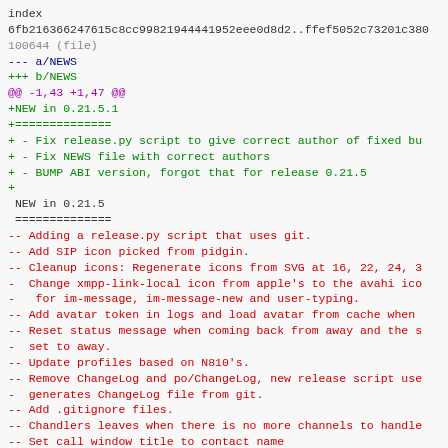index
6fb216366247615c8cc99821944441952eee0d8d2..ffef5052c73201c38
100644 (file)
--- a/NEWS
+++ b/NEWS
@@ -1,43 +1,47 @@
+NEW in 0.21.5.1
+==============
+ - Fix release.py script to give correct author of fixed bu
+ - Fix NEWS file with correct authors
+ - BUMP ABI version, forgot that for release 0.21.5
+
 NEW in 0.21.5
 ==============
-- Adding a release.py script that uses git.
-- Add SIP icon picked from pidgin.
-- Cleanup icons: Regenerate icons from SVG at 16, 22, 24, 3
-  Change xmpp-link-local icon from apple's to the avahi ico
-   for im-message, im-message-new and user-typing.
-- Add avatar token in logs and load avatar from cache when
-- Reset status message when coming back from away and the s
-  set to away.
-- Update profiles based on N810's.
-- Remove ChangeLog and po/ChangeLog, new release script use
-  generates ChangeLog file from git.
-- Add .gitignore files.
-- Chandlers leaves when there is no more channels to handle
-- Set call window title to contact name
-- Import Gossip's chat theme system and simplify it a bit.
+- Adding a release.py script that uses git.
+- Add SIP icon picked from pidgin.
+- Cleanup icons: Regenerate icons from SVG at 16, 22, 24